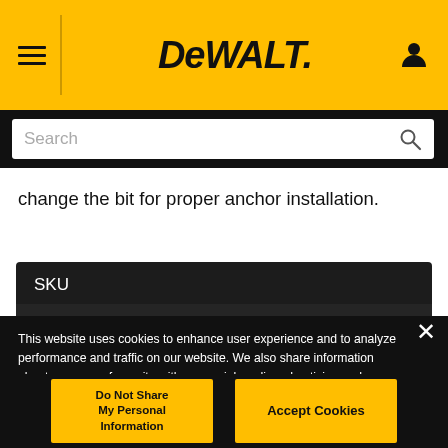DEWALT
change the bit for proper anchor installation.
| SKU |
| --- |
| DWE010 |
This website uses cookies to enhance user experience and to analyze performance and traffic on our website. We also share information about your use of our site with our social media, advertising and analytics partners.
Do Not Share My Personal Information
Accept Cookies